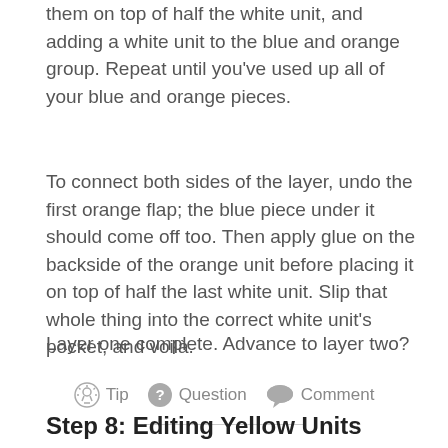them on top of half the white unit, and adding a white unit to the blue and orange group. Repeat until you've used up all of your blue and orange pieces.
To connect both sides of the layer, undo the first orange flap; the blue piece under it should come off too. Then apply glue on the backside of the orange unit before placing it on top of half the last white unit. Slip that whole thing into the correct white unit's pocket, and voilà.
Layer one complete. Advance to layer two?
Tip   Question   Comment
Step 8: Editing Yellow Units